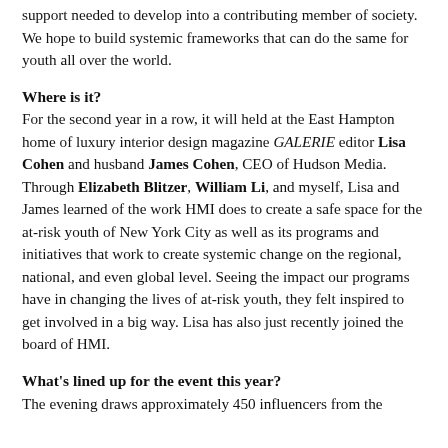support needed to develop into a contributing member of society. We hope to build systemic frameworks that can do the same for youth all over the world.
Where is it?
For the second year in a row, it will held at the East Hampton home of luxury interior design magazine GALERIE editor Lisa Cohen and husband James Cohen, CEO of Hudson Media. Through Elizabeth Blitzer, William Li, and myself, Lisa and James learned of the work HMI does to create a safe space for the at-risk youth of New York City as well as its programs and initiatives that work to create systemic change on the regional, national, and even global level. Seeing the impact our programs have in changing the lives of at-risk youth, they felt inspired to get involved in a big way. Lisa has also just recently joined the board of HMI.
What’s lined up for the event this year?
The evening draws approximately 450 influencers from the